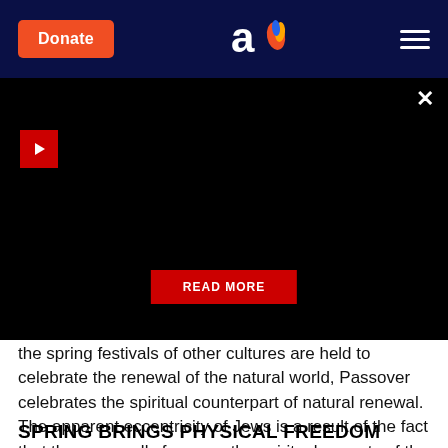[Figure (screenshot): Aish.com website header with dark navy background, orange Donate button on left, Aish logo (white 'a' with flame) in center, hamburger menu on right]
[Figure (screenshot): Black video player area with red play button on left, close X button top-right, and red READ MORE button centered at bottom]
the spring festivals of other cultures are held to celebrate the renewal of the natural world, Passover celebrates the spiritual counterpart of natural renewal. The apparent eccentricity of Jews is a result of the fact that they generally focus on the spiritual aspects of the phenomena to which other cultures relate physically.
SPRING BRINGS PHYSICAL FREEDOM